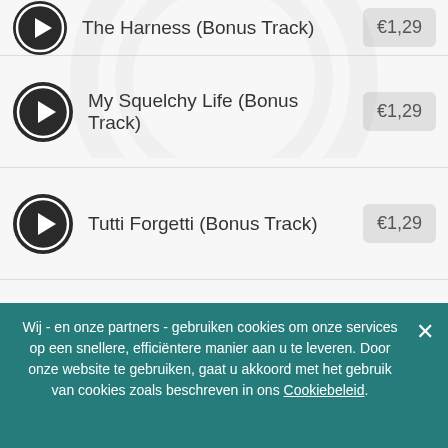The Harness (Bonus Track) — €1,29
My Squelchy Life (Bonus Track) — €1,29
Tutti Forgetti (Bonus Track) — €1,29
Stiff (Bonus Track) — €1,29
Some Words (Bonus Track) — €1,29
Juju Space Jazz (Bonus Track) — €1,29
Wij - en onze partners - gebruiken cookies om onze services op een snellere, efficiëntere manier aan u te leveren. Door onze website te gebruiken, gaat u akkoord met het gebruik van cookies zoals beschreven in ons Cookiebeleid.